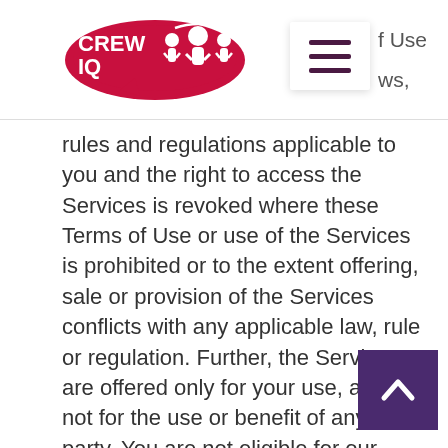[Figure (logo): Crew IQ logo with stylized figures and brain graphic in red/crimson]
Terms of Use
rules and regulations applicable to you and the right to access the Services is revoked where these Terms of Use or use of the Services is prohibited or to the extent offering, sale or provision of the Services conflicts with any applicable law, rule or regulation. Further, the Services are offered only for your use, and not for the use or benefit of any third party. You are not eligible for our Contests if you violate any provision of these Terms of Use or the Crew IQ Contest Official Rules, as determined in Crew IQ's sole discretion.